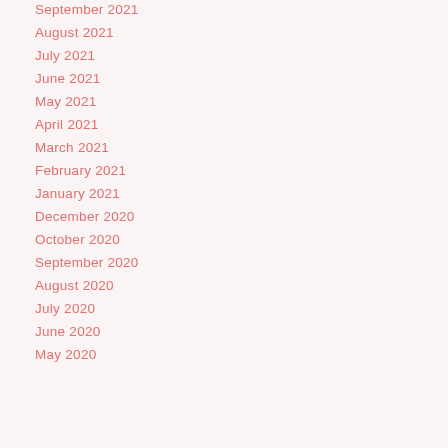September 2021
August 2021
July 2021
June 2021
May 2021
April 2021
March 2021
February 2021
January 2021
December 2020
October 2020
September 2020
August 2020
July 2020
June 2020
May 2020